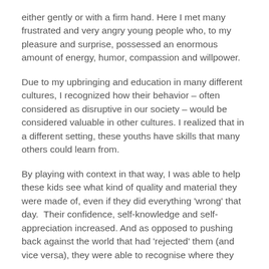either gently or with a firm hand. Here I met many frustrated and very angry young people who, to my pleasure and surprise, possessed an enormous amount of energy, humor, compassion and willpower.
Due to my upbringing and education in many different cultures, I recognized how their behavior – often considered as disruptive in our society – would be considered valuable in other cultures. I realized that in a different setting, these youths have skills that many others could learn from.
By playing with context in that way, I was able to help these kids see what kind of quality and material they were made of, even if they did everything 'wrong' that day.  Their confidence, self-knowledge and self-appreciation increased. And as opposed to pushing back against the world that had 'rejected' them (and vice versa), they were able to recognise where they